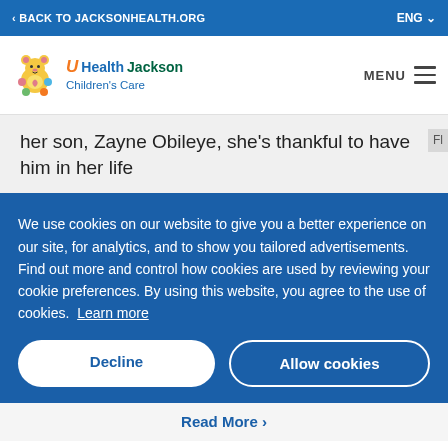< BACK TO JACKSONHEALTH.ORG | ENG
[Figure (logo): UHealth Jackson Children's Care logo with colorful bear mascot]
her son, Zayne Obileye, she's thankful to have him in her life
We use cookies on our website to give you a better experience on our site, for analytics, and to show you tailored advertisements. Find out more and control how cookies are used by reviewing your cookie preferences. By using this website, you agree to the use of cookies. Learn more
Decline | Allow cookies
Read More >